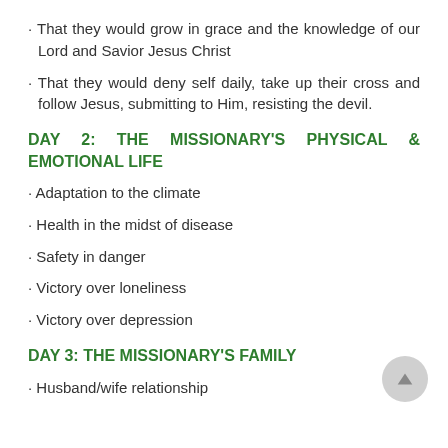• That they would grow in grace and the knowledge of our Lord and Savior Jesus Christ
• That they would deny self daily, take up their cross and follow Jesus, submitting to Him, resisting the devil.
DAY 2: THE MISSIONARY'S PHYSICAL & EMOTIONAL LIFE
• Adaptation to the climate
• Health in the midst of disease
• Safety in danger
• Victory over loneliness
• Victory over depression
DAY 3: THE MISSIONARY'S FAMILY
• Husband/wife relationship